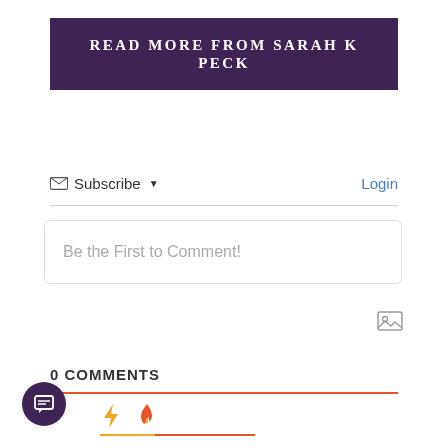READ MORE FROM SARAH K PECK
Subscribe   Login
Be the First to Comment!
0 COMMENTS